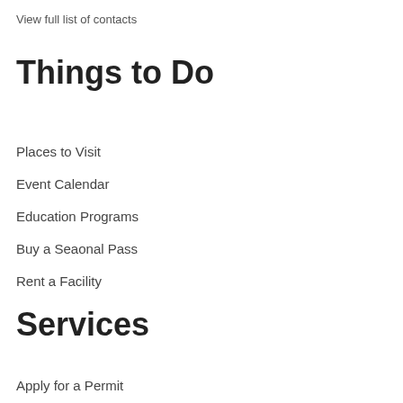View full list of contacts
Things to Do
Places to Visit
Event Calendar
Education Programs
Buy a Seaonal Pass
Rent a Facility
Services
Apply for a Permit